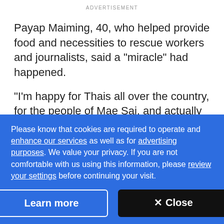ADVERTISEMENT
Payap Maiming, 40, who helped provide food and necessities to rescue workers and journalists, said a "miracle" had happened.
"I'm happy for Thais all over the country, for the people of Mae Sai, and actually just everyone in the world because every news channel has presented this story, and this is what we have been waiting for," she said.
Please know that cookies are required to operate and enhance our services as well as for advertising purposes. We value your privacy. If you are not comfortable with us using this information, please review your settings before continuing your visit.